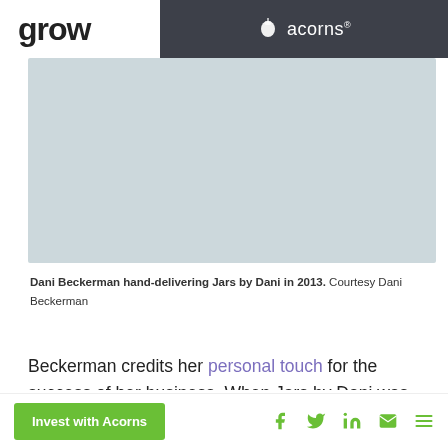grow | acorns
[Figure (photo): Light blue-gray placeholder image area representing Dani Beckerman hand-delivering Jars by Dani in 2013]
Dani Beckerman hand-delivering Jars by Dani in 2013. Courtesy Dani Beckerman
Beckerman credits her personal touch for the success of her business. When Jars by Dani was just starting out, she hand-delivered each
Invest with Acorns